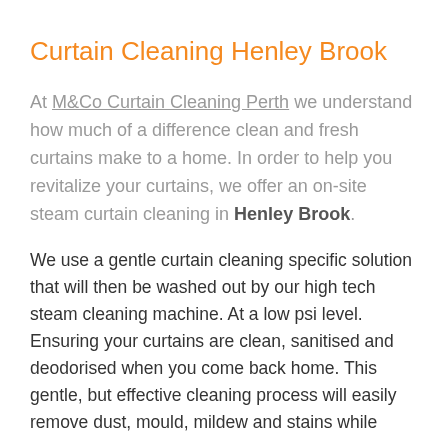Curtain Cleaning Henley Brook
At M&Co Curtain Cleaning Perth we understand how much of a difference clean and fresh curtains make to a home. In order to help you revitalize your curtains, we offer an on-site steam curtain cleaning in Henley Brook.
We use a gentle curtain cleaning specific solution that will then be washed out by our high tech steam cleaning machine. At a low psi level. Ensuring your curtains are clean, sanitised and deodorised when you come back home. This gentle, but effective cleaning process will easily remove dust, mould, mildew and stains while